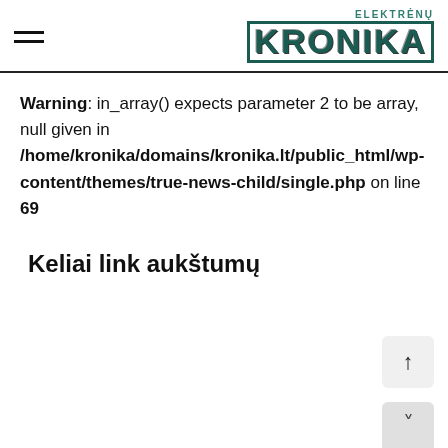ELEKTRĖNŲ KRONIKA
Warning: in_array() expects parameter 2 to be array, null given in /home/kronika/domains/kronika.lt/public_html/wp-content/themes/true-news-child/single.php on line 69
Keliai link aukštumų